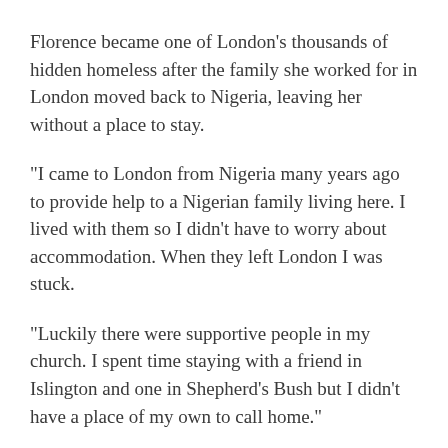Florence became one of London's thousands of hidden homeless after the family she worked for in London moved back to Nigeria, leaving her without a place to stay.
“I came to London from Nigeria many years ago to provide help to a Nigerian family living here. I lived with them so I didn’t have to worry about accommodation. When they left London I was stuck.
“Luckily there were supportive people in my church. I spent time staying with a friend in Islington and one in Shepherd’s Bush but I didn’t have a place of my own to call home.”
After years of sleeping on friends’ sofas, Florence found herself without a place to stay.
“My situation became more serious when the lady I was staying with in Shepherd’s Bush died last year and my